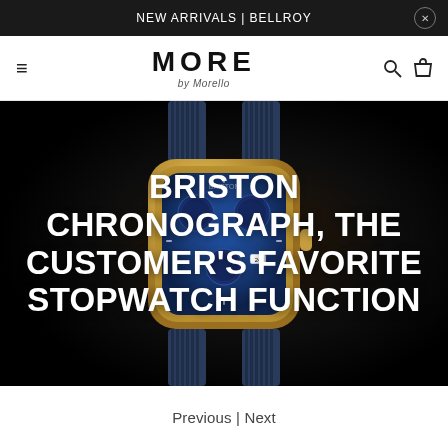NEW ARRIVALS | BELLROY
MORE by Morello
[Figure (photo): A Briston chronograph watch with a blue dial and blue NATO strap, photographed on a dark background. The watch has gold-tone case and shows multiple subdials characteristic of a chronograph.]
BRISTON CHRONOGRAPH, THE CUSTOMER'S FAVORITE STOPWATCH FUNCTION
Previous | Next